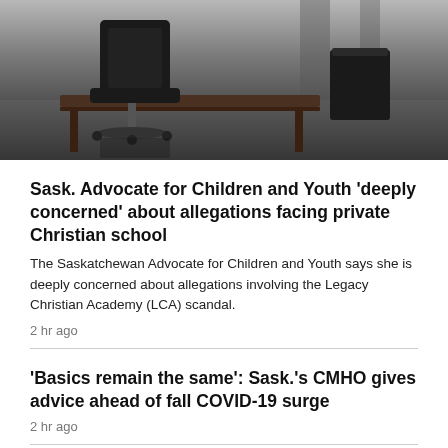[Figure (photo): Dark photo of an office chair and desk in a dimly lit room]
Sask. Advocate for Children and Youth 'deeply concerned' about allegations facing private Christian school
The Saskatchewan Advocate for Children and Youth says she is deeply concerned about allegations involving the Legacy Christian Academy (LCA) scandal.
2 hr ago
'Basics remain the same': Sask.'s CMHO gives advice ahead of fall COVID-19 surge
2 hr ago
Former Saskatoon doctor alleged to have killed